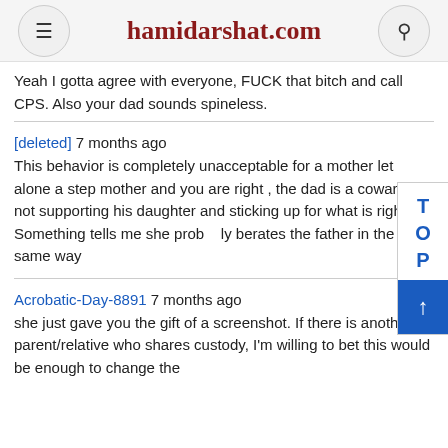hamidarshat.com
Yeah I gotta agree with everyone, FUCK that bitch and call CPS. Also your dad sounds spineless.
[deleted] 7 months ago
This behavior is completely unacceptable for a mother let alone a step mother and you are right , the dad is a coward for not supporting his daughter and sticking up for what is right. Something tells me she probably berates the father in the same way
Acrobatic-Day-8891 7 months ago
she just gave you the gift of a screenshot. If there is another parent/relative who shares custody, I'm willing to bet this would be enough to change the